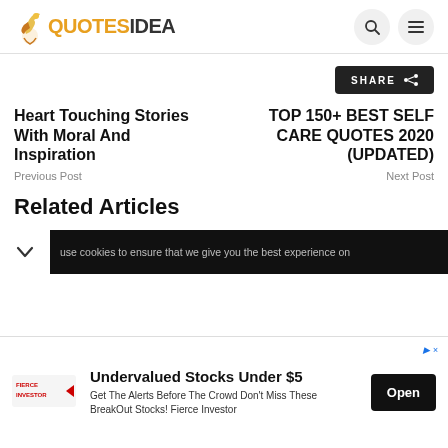QUOTESIDEA
SHARE
Heart Touching Stories With Moral And Inspiration
Previous Post
TOP 150+ BEST SELF CARE QUOTES 2020 (UPDATED)
Next Post
Related Articles
use cookies to ensure that we give you the best experience on
Undervalued Stocks Under $5 Get The Alerts Before The Crowd Don't Miss These BreakOut Stocks! Fierce Investor